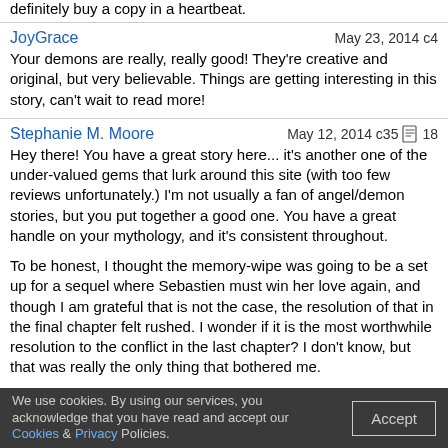definitely buy a copy in a heartbeat.
JoyGrace
May 23, 2014 c4
Your demons are really, really good! They're creative and original, but very believable. Things are getting interesting in this story, can't wait to read more!
Stephanie M. Moore
May 12, 2014 c35 18
Hey there! You have a great story here... it's another one of the under-valued gems that lurk around this site (with too few reviews unfortunately.) I'm not usually a fan of angel/demon stories, but you put together a good one. You have a great handle on your mythology, and it's consistent throughout.

To be honest, I thought the memory-wipe was going to be a set up for a sequel where Sebastien must win her love again, and though I am grateful that is not the case, the resolution of that in the final chapter felt rushed. I wonder if it is the most worthwhile resolution to the conflict in the last chapter? I don't know, but that was really the only thing that bothered me.

You have a great writing style and a well-written story, and I'll definitely check out some of your other works!
Hazzard8
May 10, 2014 c35 1
I just want to say that I think this is one of the best stories I've read on this website, the way you portrayed the good and evil of heaven and hell to not be so clearly divided was very well done so thumbs up for that. The characters were probably the best feature of this story but
We use cookies. By using our services, you acknowledge that you have read and accept our Cookies & Privacy Policies.